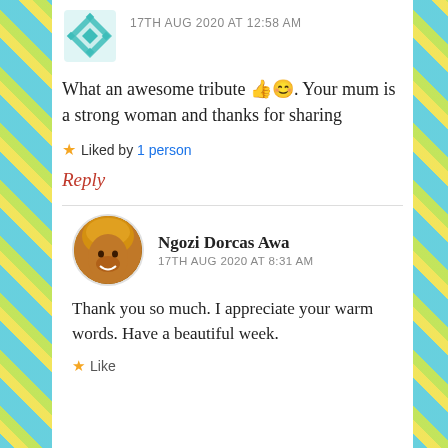[Figure (illustration): Teal geometric quilt-pattern avatar icon, partially visible at top]
17TH AUG 2020 AT 12:58 AM
What an awesome tribute 👍😊. Your mum is a strong woman and thanks for sharing
★ Liked by 1 person
Reply
[Figure (photo): Circular profile photo of Ngozi Dorcas Awa, a woman wearing traditional orange/gold headwrap and smiling]
Ngozi Dorcas Awa
17TH AUG 2020 AT 8:31 AM
Thank you so much. I appreciate your warm words. Have a beautiful week.
★ Like